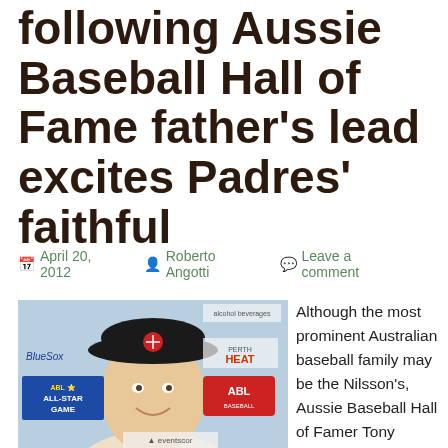following Aussie Baseball Hall of Fame father's lead excites Padres' faithful
April 20, 2012   Roberto Angotti   Leave a comment
[Figure (photo): Young male baseball player smiling at camera, wearing a black cap with a logo, in front of sponsor banners including Perth Heat, ABL All Star Game, BlueSox, and eventscor logos.]
Although the most prominent Australian baseball family may be the Nilsson's, Aussie Baseball Hall of Famer Tony